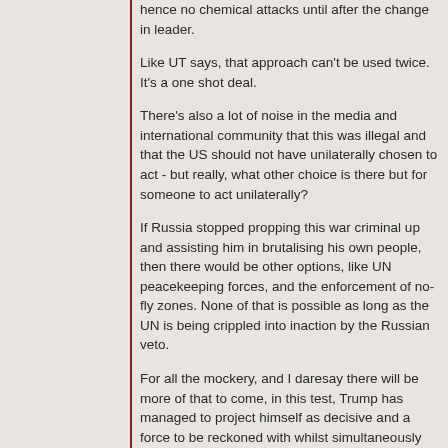hence no chemical attacks until after the change in leader.
Like UT says, that approach can't be used twice. It's a one shot deal.
There's also a lot of noise in the media and international community that this was illegal and that the US should not have unilaterally chosen to act - but really, what other choice is there but for someone to act unilaterally?
If Russia stopped propping this war criminal up and assisting him in brutalising his own people, then there would be other options, like UN peacekeeping forces, and the enforcement of no-fly zones. None of that is possible as long as the UN is being crippled into inaction by the Russian veto.
For all the mockery, and I daresay there will be more of that to come, in this test, Trump has managed to project himself as decisive and a force to be reckoned with whilst simultaneously demonstrating independence from Russian influence. As political tests go for new leaders, I'd say he did pretty